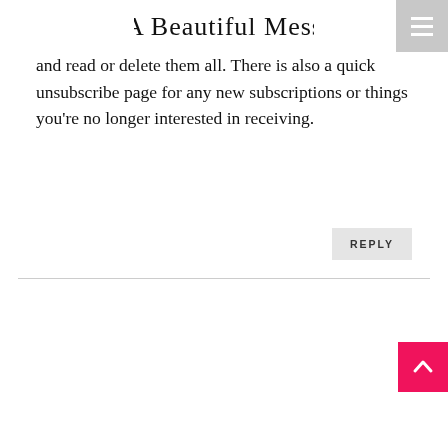A Beautiful Mess
and read or delete them all. There is also a quick unsubscribe page for any new subscriptions or things you're no longer interested in receiving.
REPLY
[Figure (other): Back to top arrow button in hot pink/magenta color]